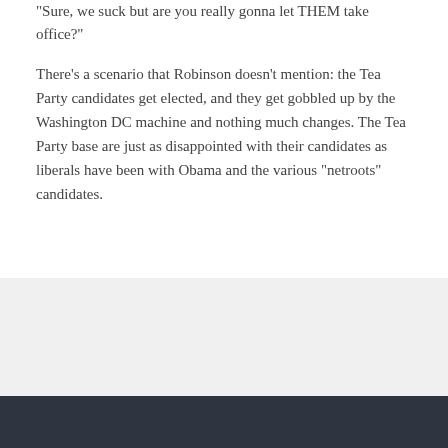“Sure, we suck but are you really gonna let THEM take office?”
There’s a scenario that Robinson doesn’t mention: the Tea Party candidates get elected, and they get gobbled up by the Washington DC machine and nothing much changes. The Tea Party base are just as disappointed with their candidates as liberals have been with Obama and the various “netroots” candidates.
Older posts
ARCHIVE BY SUBJECT
Audio Interviews